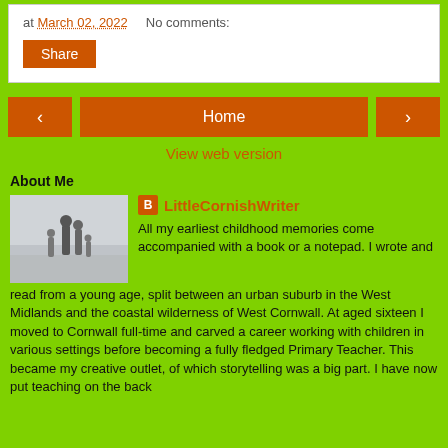at March 02, 2022    No comments:
Share
‹
Home
›
View web version
About Me
LittleCornishWriter
All my earliest childhood memories come accompanied with a book or a notepad. I wrote and read from a young age, split between an urban suburb in the West Midlands and the coastal wilderness of West Cornwall. At aged sixteen I moved to Cornwall full-time and carved a career working with children in various settings before becoming a fully fledged Primary Teacher. This became my creative outlet, of which storytelling was a big part. I have now put teaching on the back